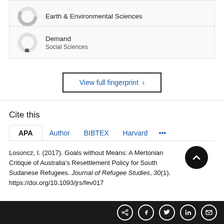[Figure (donut-chart): Partial donut/ring chart for Earth & Environmental Sciences category (cropped at top)]
[Figure (donut-chart): Partial donut/ring chart for Demand, Social Sciences category]
View full fingerprint >
Cite this
APA  Author  BIBTEX  Harvard  ...
Losoncz, I. (2017). Goals without Means: A Mertonian Critique of Australia's Resettlement Policy for South Sudanese Refugees. Journal of Refugee Studies, 30(1). https://doi.org/10.1093/jrs/fev017